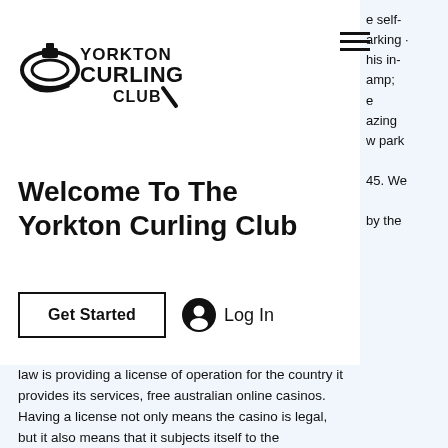[Figure (logo): Yorkton Curling Club logo with a curling stone graphic and bold text reading YORKTON CURLING CLUB]
Welcome To The Yorkton Curling Club
Get Started
Log In
e self- arking · his in- amp; e azing w park 45. We by the law is providing a license of operation for the country it provides its services, free australian online casinos. Having a license not only means the casino is legal, but it also means that it subjects itself to the regulations of the body offering the license. A high payment chance game gives new players a taste for success and offers a chance to practice before moving on to more challenging slots where the stakes are